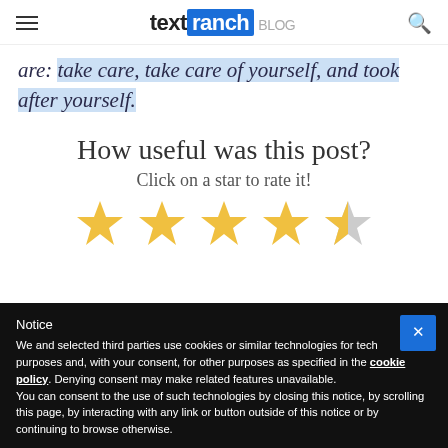textranch BLOG
are: take care, take care of yourself, and look after yourself.
How useful was this post?
Click on a star to rate it!
[Figure (other): Five-star rating widget showing 4 filled gold stars and 1 half-filled star]
Notice
We and selected third parties use cookies or similar technologies for technical purposes and, with your consent, for other purposes as specified in the cookie policy. Denying consent may make related features unavailable.
You can consent to the use of such technologies by closing this notice, by scrolling this page, by interacting with any link or button outside of this notice or by continuing to browse otherwise.